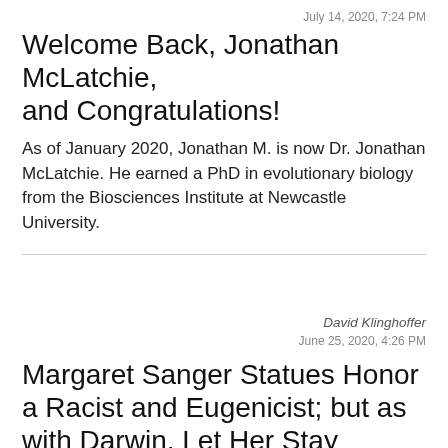July 14, 2020, 7:24 PM
Welcome Back, Jonathan McLatchie, and Congratulations!
As of January 2020, Jonathan M. is now Dr. Jonathan McLatchie. He earned a PhD in evolutionary biology from the Biosciences Institute at Newcastle University.
David Klinghoffer
June 25, 2020, 4:26 PM
Margaret Sanger Statues Honor a Racist and Eugenicist; but as with Darwin, Let Her Stay